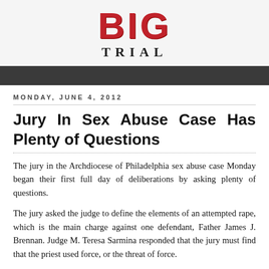[Figure (logo): Big Trial blog logo with BIG in large red bold text and TRIAL in smaller black spaced text below]
MONDAY, JUNE 4, 2012
Jury In Sex Abuse Case Has Plenty of Questions
The jury in the Archdiocese of Philadelphia sex abuse case Monday began their first full day of deliberations by asking plenty of questions.
The jury asked the judge to define the elements of an attempted rape, which is the main charge against one defendant, Father James J. Brennan. Judge M. Teresa Sarmina responded that the jury must find that the priest used force, or the threat of force.